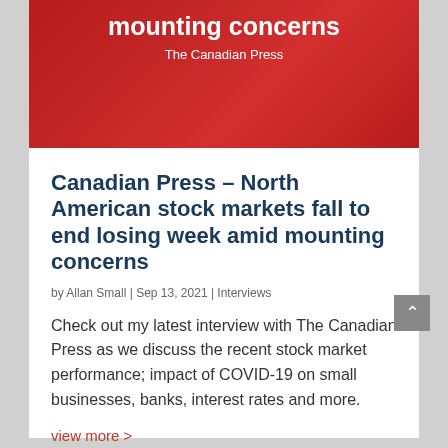mounting concerns
The Canadian Press
Canadian Press – North American stock markets fall to end losing week amid mounting concerns
by Allan Small | Sep 13, 2021 | Interviews
Check out my latest interview with The Canadian Press as we discuss the recent stock market performance; impact of COVID-19 on small businesses, banks, interest rates and more.
view more >